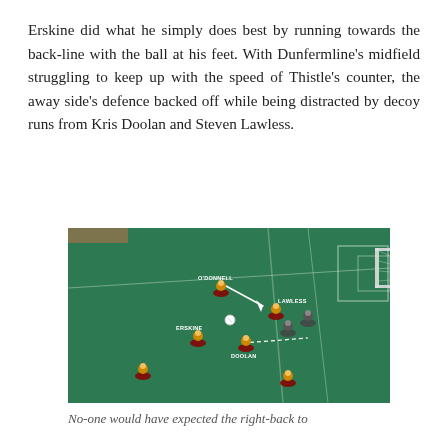Erskine did what he simply does best by running towards the back-line with the ball at his feet. With Dunfermline's midfield struggling to keep up with the speed of Thistle's counter, the away side's defence backed off while being distracted by decoy runs from Kris Doolan and Steven Lawless.
[Figure (photo): A tabletop football (Subbuteo) game photo showing miniature player figures on a green felt pitch. Player labels visible include O'DONNELL, LAWLESS, ERSKINE, and DOOLAN. Arrows and dotted lines show player movement/passes. A goal post is visible at the right edge.]
No-one would have expected the right-back to